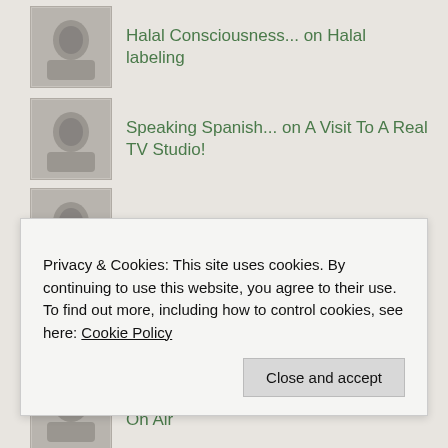Halal Consciousness... on Halal labeling
Speaking Spanish... on A Visit To A Real TV Studio!
Friendship – A... on Uncle Nisar
Friendship – A... on Emotions
Oral Exam Adventure... on First Time On Air
Aiman Amani on Moringa Oleifera – The M...
Privacy & Cookies: This site uses cookies. By continuing to use this website, you agree to their use.
To find out more, including how to control cookies, see here: Cookie Policy
Close and accept